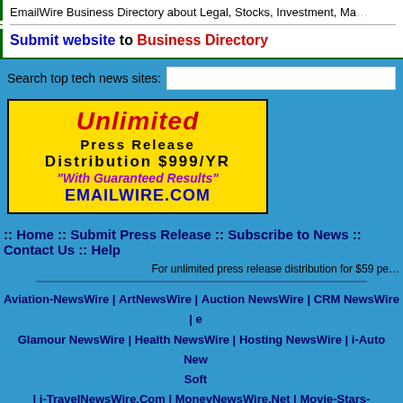EmailWire Business Directory about Legal, Stocks, Investment, Ma...
Submit website to Business Directory
Search top tech news sites:
[Figure (infographic): Yellow advertisement banner: Unlimited Press Release Distribution $999/YR "With Guaranteed Results" EMAILWIRE.COM]
:: Home :: Submit Press Release :: Subscribe to News :: Contact Us :: Help
For unlimited press release distribution for $59 pe...
Aviation-NewsWire | ArtNewsWire | Auction NewsWire | CRM NewsWire | e... Glamour NewsWire | Health NewsWire | Hosting NewsWire | i-Auto New... Soft... | i-TravelNewsWire.Com | MoneyNewsWire.Net | Movie-Stars-News.Com NewsWire.Net | Transportation-News.Com | USGovernment-N...
GroupWeb.com ™ - a Technology News and Resource of GroupW...